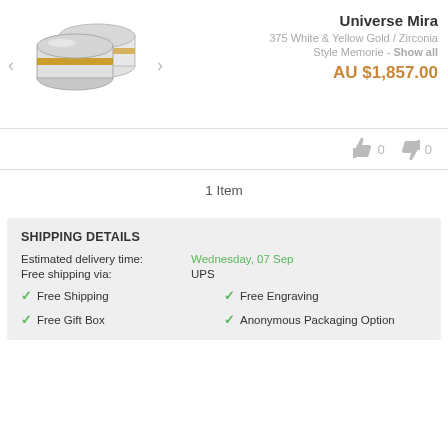[Figure (photo): Two wedding rings - white and yellow gold - displayed overlapping on white background]
Universe Mira
375 White & Yellow Gold / Zirconia
Style Memorie - Show all
AU $1,857.00
0  0
1 Item
SHIPPING DETAILS
Estimated delivery time: Wednesday, 07 Sep
Free shipping via: UPS
Free Shipping
Free Engraving
Free Gift Box
Anonymous Packaging Option